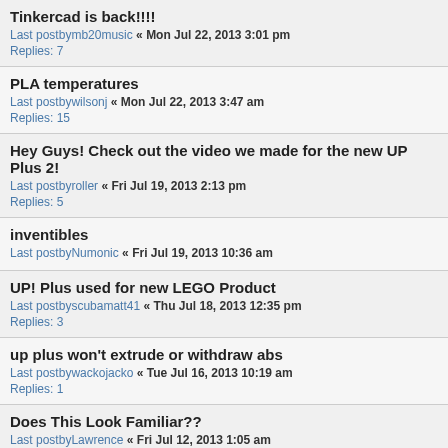Tinkercad is back!!!!
Last postby mb20music « Mon Jul 22, 2013 3:01 pm
Replies: 7
PLA temperatures
Last postby wilsonj « Mon Jul 22, 2013 3:47 am
Replies: 15
Hey Guys! Check out the video we made for the new UP Plus 2!
Last postby roller « Fri Jul 19, 2013 2:13 pm
Replies: 5
inventibles
Last postby Numonic « Fri Jul 19, 2013 10:36 am
UP! Plus used for new LEGO Product
Last postby scubamatt41 « Thu Jul 18, 2013 12:35 pm
Replies: 3
up plus won't extrude or withdraw abs
Last postby wackojacko « Tue Jul 16, 2013 10:19 am
Replies: 1
Does This Look Familiar??
Last postby Lawrence « Fri Jul 12, 2013 1:05 am
Replies: 11
Rubber Like ABS Filament with UP Plus 3D Printer RC Tyre
Last postby mrt « Wed Jul 10, 2013 8:17 am
Replies: 3